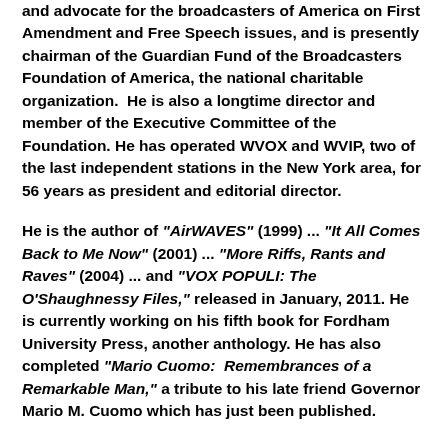and advocate for the broadcasters of America on First Amendment and Free Speech issues, and is presently chairman of the Guardian Fund of the Broadcasters Foundation of America, the national charitable organization.  He is also a longtime director and member of the Executive Committee of the Foundation. He has operated WVOX and WVIP, two of the last independent stations in the New York area, for 56 years as president and editorial director.
He is the author of "AirWAVES" (1999) ... "It All Comes Back to Me Now" (2001) ... "More Riffs, Rants and Raves" (2004) ... and "VOX POPULI: The O'Shaughnessy Files," released in January, 2011. He is currently working on his fifth book for Fordham University Press, another anthology. He has also completed "Mario Cuomo:  Remembrances of a Remarkable Man," a tribute to his late friend Governor Mario M. Cuomo which has just been published.